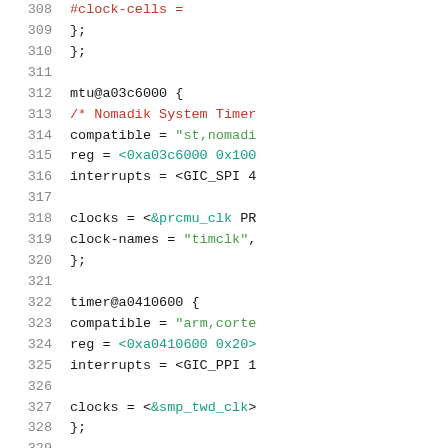[Figure (screenshot): Source code listing showing device tree entries for mtu@a03c6000 and timer@a0410600 nodes, lines 308-329, with syntax highlighting: line numbers in gray, keywords in dark, strings in green, hex values in teal/blue, comments in red.]